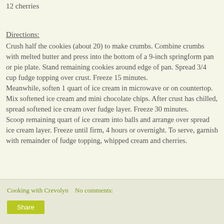12 cherries
Directions:
Crush half the cookies (about 20) to make crumbs. Combine crumbs with melted butter and press into the bottom of a 9-inch springform pan or pie plate. Stand remaining cookies around edge of pan. Spread 3/4 cup fudge topping over crust. Freeze 15 minutes.
Meanwhile, soften 1 quart of ice cream in microwave or on countertop. Mix softened ice cream and mini chocolate chips. After crust has chilled, spread softened ice cream over fudge layer. Freeze 30 minutes.
Scoop remaining quart of ice cream into balls and arrange over spread ice cream layer. Freeze until firm, 4 hours or overnight. To serve, garnish with remainder of fudge topping, whipped cream and cherries.
Cooking with Crevolyn   No comments: